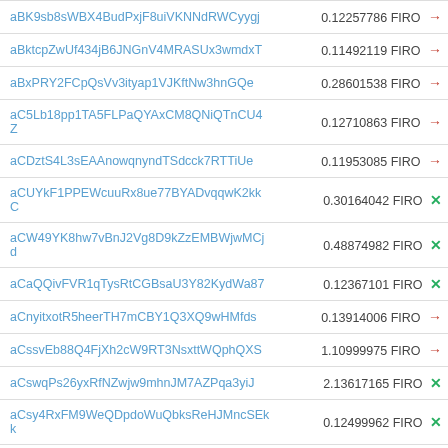| Address | Amount |
| --- | --- |
| aBK9sb8sWBX4BudPxjF8uiVKNNdRWCyygj | 0.12257786 FIRO → |
| aBktcpZwUf434jB6JNGnV4MRASUx3wmdxT | 0.11492119 FIRO → |
| aBxPRY2FCpQsVv3ityap1VJKftNw3hnGQe | 0.28601538 FIRO → |
| aC5Lb18pp1TA5FLPaQYAxCM8QNiQTnCU4Z | 0.12710863 FIRO → |
| aCDztS4L3sEAAnowqnyndTSdcck7RTTiUe | 0.11953085 FIRO → |
| aCUYkF1PPEWcuuRx8ue77BYADvqqwK2kkC | 0.30164042 FIRO × |
| aCW49YK8hw7vBnJ2Vg8D9kZzEMBWjwMCjd | 0.48874982 FIRO × |
| aCaQQivFVR1qTysRtCGBsaU3Y82KydWa87 | 0.12367101 FIRO × |
| aCnyitxotR5heerTH7mCBY1Q3XQ9wHMfds | 0.13914006 FIRO → |
| aCssvEb88Q4FjXh2cW9RT3NsxttWQphQXS | 1.10999975 FIRO → |
| aCswqPs26yxRfNZwjw9mhnJM7AZPqa3yiJ | 2.13617165 FIRO × |
| aCsy4RxFM9WeQDpdoWuQbksReHJMncSEkk | 0.12499962 FIRO × |
| aCv3NLUiFZKgrTixAshuFT1WZFGZ8ufYYz | 0.28812475 FIRO → |
| aDBS6N3ARf31NABp7dxRkqJmBe8bjGBZD3 | 0.21921845 FIRO → |
| aDJE2T2ndXmiTXJkb82CYSEv5Xf6vtexdx | 0.92820293 FIRO → |